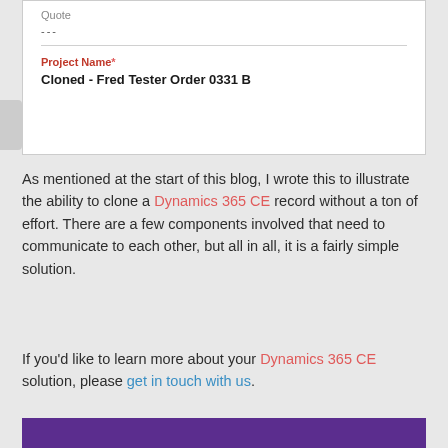[Figure (screenshot): A form screenshot showing a 'Quote' field with dashes and a 'Project Name*' field with the value 'Cloned - Fred Tester Order 0331 B']
As mentioned at the start of this blog, I wrote this to illustrate the ability to clone a Dynamics 365 CE record without a ton of effort. There are a few components involved that need to communicate to each other, but all in all, it is a fairly simple solution.
If you'd like to learn more about your Dynamics 365 CE solution, please get in touch with us.